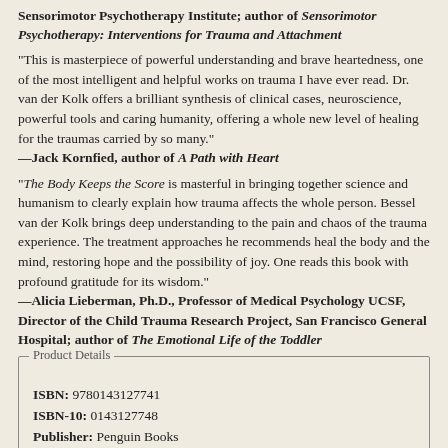Sensorimotor Psychotherapy Institute; author of Sensorimotor Psychotherapy: Interventions for Trauma and Attachment
“This is masterpiece of powerful understanding and brave heartedness, one of the most intelligent and helpful works on trauma I have ever read. Dr. van der Kolk offers a brilliant synthesis of clinical cases, neuroscience, powerful tools and caring humanity, offering a whole new level of healing for the traumas carried by so many.”
—Jack Kornfied, author of A Path with Heart
“The Body Keeps the Score is masterful in bringing together science and humanism to clearly explain how trauma affects the whole person. Bessel van der Kolk brings deep understanding to the pain and chaos of the trauma experience. The treatment approaches he recommends heal the body and the mind, restoring hope and the possibility of joy. One reads this book with profound gratitude for its wisdom.”
—Alicia Lieberman, Ph.D., Professor of Medical Psychology UCSF, Director of the Child Trauma Research Project, San Francisco General Hospital; author of The Emotional Life of the Toddler
Product Details
ISBN: 9780143127741
ISBN-10: 0143127748
Publisher: Penguin Books
Publication Date: September 9th, 2015